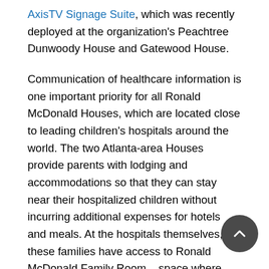AxisTV Signage Suite, which was recently deployed at the organization's Peachtree Dunwoody House and Gatewood House.
Communication of healthcare information is one important priority for all Ronald McDonald Houses, which are located close to leading children's hospitals around the world. The two Atlanta-area Houses provide parents with lodging and accommodations so that they can stay near their hospitalized children without incurring additional expenses for hotels and meals. At the hospitals themselves, these families have access to Ronald McDonald Family Room – space where they can enjoy a few moments of respite in between caring for their children and meeting with medical staff. There is also Ronald McDonald Care Mobile, a 40-foot-long, eight-foot-wide van that is a fully functional medical clinic dedicated to